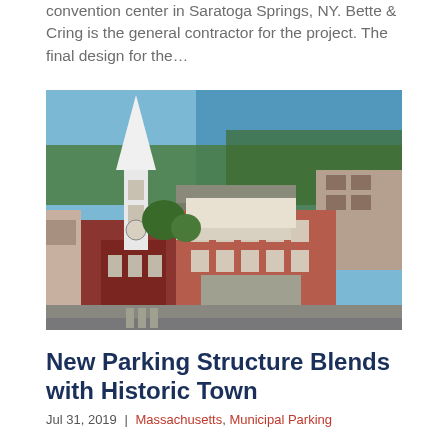convention center in Saratoga Springs, NY. Bette & Cring is the general contractor for the project. The final design for the…
[Figure (photo): Aerial view of a historic New England town with a white church steeple in the foreground, brick buildings, and a harbor with boats in the background on a clear summer day.]
New Parking Structure Blends with Historic Town
Jul 31, 2019 | Massachusetts, Municipal Parking